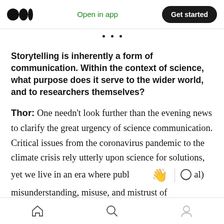Open in app | Get started
· · ·
Storytelling is inherently a form of communication. Within the context of science, what purpose does it serve to the wider world, and to researchers themselves?
Thor: One needn't look further than the evening news to clarify the great urgency of science communication. Critical issues from the coronavirus pandemic to the climate crisis rely utterly upon science for solutions, yet we live in an era where publ[ic] (al) misunderstanding, misuse, and mistrust of
Home | Search | Profile